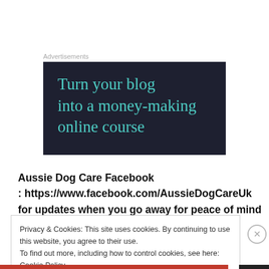Advertisements
[Figure (other): Advertisement banner with dark navy background showing text 'Turn your blog into a money-making online course' in teal/turquoise serif font]
Aussie Dog Care Facebook : https://www.facebook.com/AussieDogCareUk for updates when you go away for peace of mind
Privacy & Cookies: This site uses cookies. By continuing to use this website, you agree to their use. To find out more, including how to control cookies, see here: Cookie Policy
Close and accept